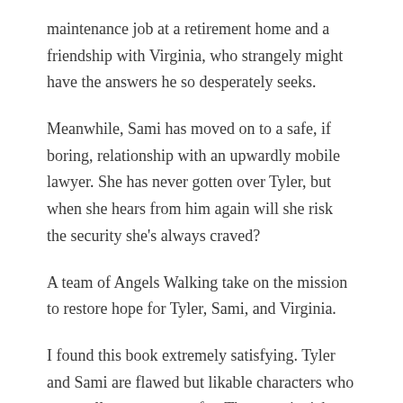maintenance job at a retirement home and a friendship with Virginia, who strangely might have the answers he so desperately seeks.
Meanwhile, Sami has moved on to a safe, if boring, relationship with an upwardly mobile lawyer. She has never gotten over Tyler, but when she hears from him again will she risk the security she's always craved?
A team of Angels Walking take on the mission to restore hope for Tyler, Sami, and Virginia.
I found this book extremely satisfying. Tyler and Sami are flawed but likable characters who you really want to root for. The story is rich with detail, though